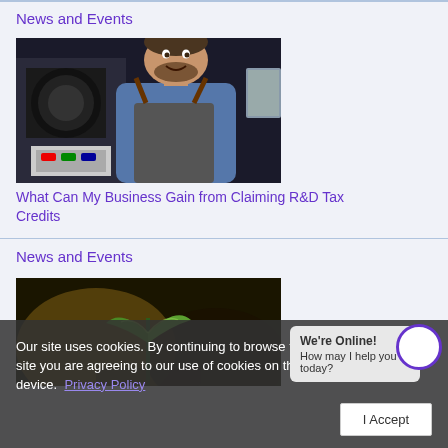News and Events
[Figure (photo): A smiling man with a beard wearing a blue shirt and grey apron, standing in front of coffee roasting equipment in a cafe setting.]
What Can My Business Gain from Claiming R&D Tax Credits
News and Events
[Figure (photo): Close-up of a green seedling plant against a dark blurred background.]
Our site uses cookies. By continuing to browse the site you are agreeing to our use of cookies on this device. Privacy Policy
We're Online! How may I help you today?
I Accept